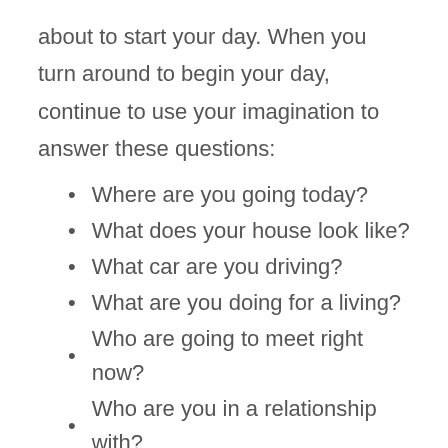about to start your day. When you turn around to begin your day, continue to use your imagination to answer these questions:
Where are you going today?
What does your house look like?
What car are you driving?
What are you doing for a living?
Who are going to meet right now?
Who are you in a relationship with?
How much are you earning?